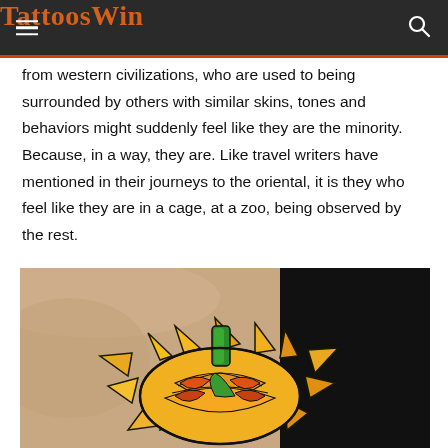TattoosWin
from western civilizations, who are used to being surrounded by others with similar skins, tones and behaviors might suddenly feel like they are the minority. Because, in a way, they are. Like travel writers have mentioned in their journeys to the oriental, it is they who feel like they are in a cage, at a zoo, being observed by the rest.
[Figure (photo): Close-up photograph of a colorful durian fruit tattoo on skin, featuring geometric sections in orange, yellow, and green with dark outlines, against a black background.]